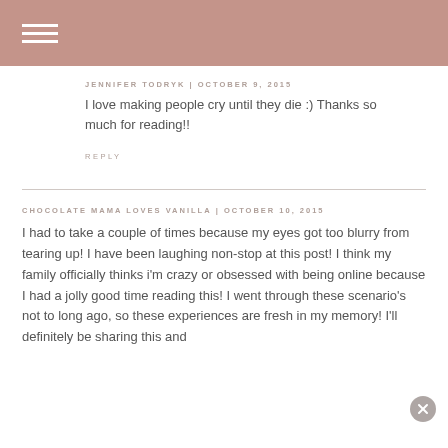≡ (hamburger menu)
JENNIFER TODRYK | OCTOBER 9, 2015
I love making people cry until they die :) Thanks so much for reading!!
REPLY
CHOCOLATE MAMA LOVES VANILLA | OCTOBER 10, 2015
I had to take a break a couple of times because my eyes got too blurry from tearing up! I have been laughing non-stop at this post! I think my family officially thinks i'm crazy or obsessed with being online because I had a jolly good time reading this! I went through these scenario's not to long ago, so these experiences are fresh in my memory! I'll definitely be sharing this and